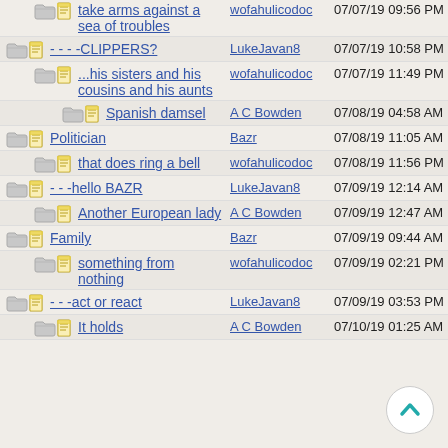take arms against a sea of troubles | wofahulicodoc | 07/07/19 09:56 PM
- - - -CLIPPERS? | LukeJavan8 | 07/07/19 10:58 PM
...his sisters and his cousins and his aunts | wofahulicodoc | 07/07/19 11:49 PM
Spanish damsel | A C Bowden | 07/08/19 04:58 AM
Politician | Bazr | 07/08/19 11:05 AM
that does ring a bell | wofahulicodoc | 07/08/19 11:56 PM
- - -hello BAZR | LukeJavan8 | 07/09/19 12:14 AM
Another European lady | A C Bowden | 07/09/19 12:47 AM
Family | Bazr | 07/09/19 09:44 AM
something from nothing | wofahulicodoc | 07/09/19 02:21 PM
- - -act or react | LukeJavan8 | 07/09/19 03:53 PM
It holds | A C Bowden | 07/10/19 01:25 AM